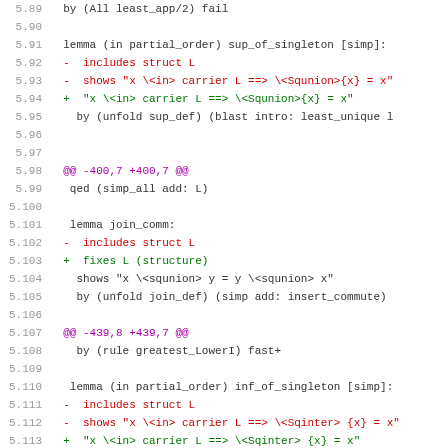[Figure (screenshot): Diff/patch view of Isabelle/HOL proof source code showing line numbers 5.89-5.121 with removed lines in red, added lines in green, and hunk headers in purple, on white background.]